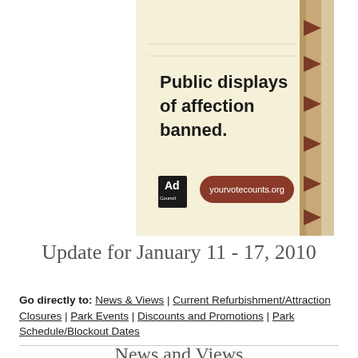[Figure (illustration): Ad Council public service advertisement on cream/tan notepad background with text 'Public displays of affection banned.' and 'yourvotecounts.org' URL pill. Brown arrow tabs on right side. Ad Council logo bottom left.]
Update for January 11 - 17, 2010
Go directly to: News & Views | Current Refurbishment/Attraction Closures | Park Events | Discounts and Promotions | Park Schedule/Blockout Dates
News and Views